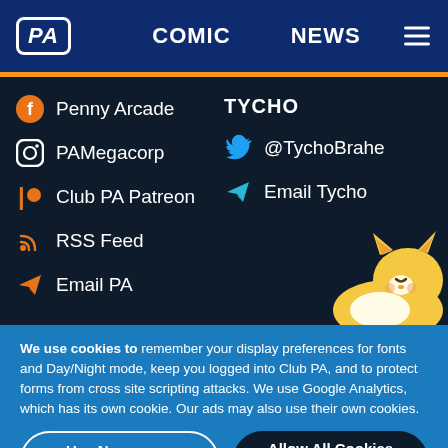PA | COMIC | NEWS
Penny Arcade
PAMegacorp
Club PA Patreon
RSS Feed
Email PA
TYCHO
@TychoBrahe
Email Tycho
[Figure (illustration): Cartoon cat/fox character peeking from lower right corner]
We use cookies to remember your display preferences for fonts and Day/Night mode, keep you logged into Club PA, and to protect forms from cross site scripting attacks. We use Google Analytics, which has its own cookie. Our ads may also use their own cookies.
Use Necessary Cookies Only
Allow All Cookies